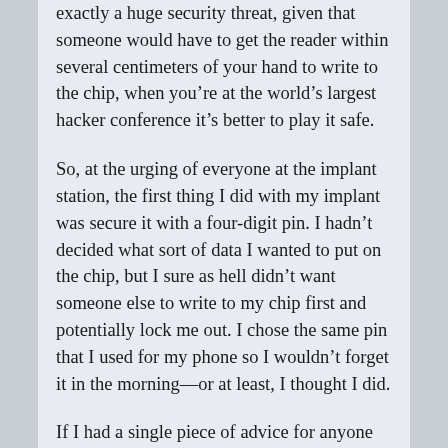exactly a huge security threat, given that someone would have to get the reader within several centimeters of your hand to write to the chip, when you're at the world's largest hacker conference it's better to play it safe.
So, at the urging of everyone at the implant station, the first thing I did with my implant was secure it with a four-digit pin. I hadn't decided what sort of data I wanted to put on the chip, but I sure as hell didn't want someone else to write to my chip first and potentially lock me out. I chose the same pin that I used for my phone so I wouldn't forget it in the morning—or at least, I thought I did.
If I had a single piece of advice for anyone thinking about getting an NFC chip implant it would be to do it sober. For starters, the piercer probably won't even give you the implant if they suspect you're intoxicated for reasons involving consent and safety (alcohol